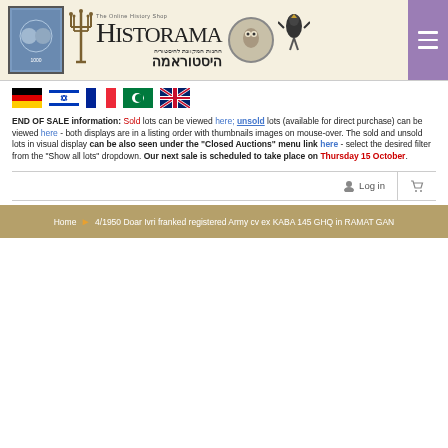[Figure (logo): Historama - The Online History Shop logo banner with stamp, menorah, Hebrew text, owl coin, and eagle decoration]
[Figure (other): Language selector flags: German, Israeli, French, Arabic, UK/English]
END OF SALE information: Sold lots can be viewed here; unsold lots (available for direct purchase) can be viewed here - both displays are in a listing order with thumbnails images on mouse-over. The sold and unsold lots in visual display can be also seen under the "Closed Auctions" menu link here - select the desired filter from the "Show all lots" dropdown. Our next sale is scheduled to take place on Thursday 15 October.
[Figure (other): Login and cart icons bar]
Home ▶ 4/1950 Doar Ivri franked registered Army cv ex KABA 145 GHQ in RAMAT GAN